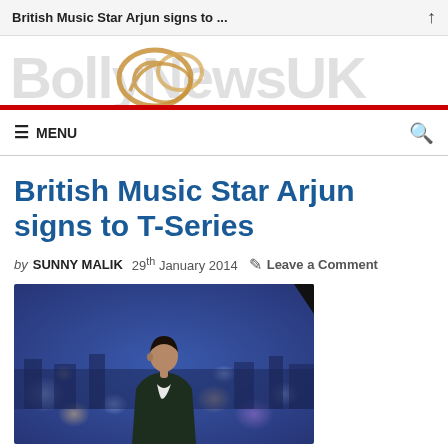British Music Star Arjun signs to ...
[Figure (logo): BollyNewsUK website logo with stylized text and golden swirl graphic]
MENU | Search icon
British Music Star Arjun signs to T-Series
by SUNNY MALIK   29th January 2014   Leave a Comment
[Figure (photo): Photo of Arjun, a young British Asian male music artist wearing a dark blazer over white t-shirt, posed against a blurred night cityscape background with bokeh lights]